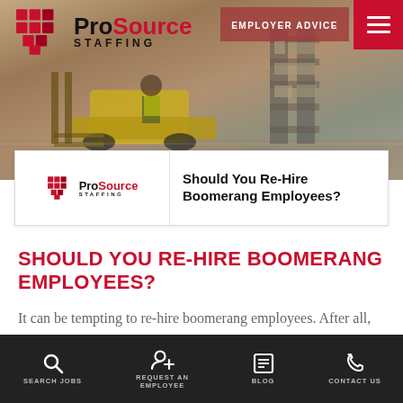[Figure (screenshot): ProSource Staffing website header with logo, forklift warehouse photo background, Employer Advice button, and hamburger menu]
[Figure (screenshot): Article preview card showing ProSource Staffing logo and article title: Should You Re-Hire Boomerang Employees?]
SHOULD YOU RE-HIRE BOOMERANG EMPLOYEES?
It can be tempting to re-hire boomerang employees. After all, you know them well and they've done good work for you in the past. But...
SEARCH JOBS   REQUEST AN EMPLOYEE   BLOG   CONTACT US